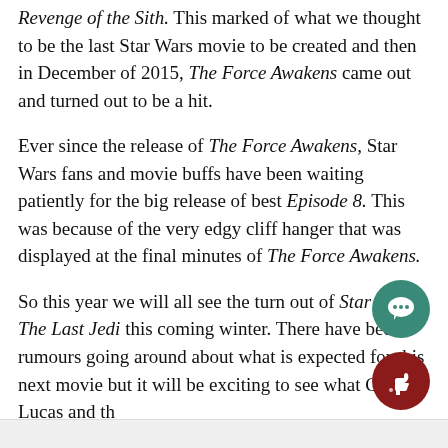Revenge of the Sith. This marked of what we thought to be the last Star Wars movie to be created and then in December of 2015, The Force Awakens came out and turned out to be a hit.
Ever since the release of The Force Awakens, Star Wars fans and movie buffs have been waiting patiently for the big release of best Episode 8. This was because of the very edgy cliff hanger that was displayed at the final minutes of The Force Awakens.
So this year we will all see the turn out of Star Wars: The Last Jedi this coming winter. There have been rumours going around about what is expected for this next movie but it will be exciting to see what George Lucas and the Star Wars Inc. have in store for us.